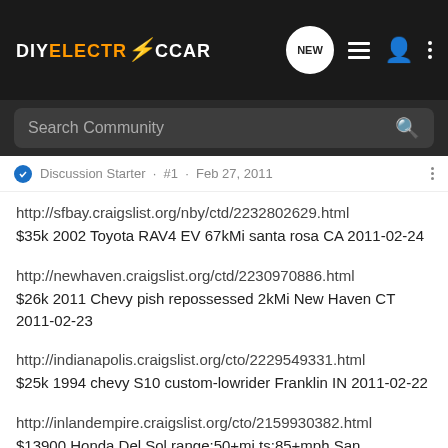DIYELECTRICCAR — navigation bar with NEW, list, person, and more icons
Search Community
Discussion Starter · #1 · Feb 27, 2011
http://sfbay.craigslist.org/nby/ctd/2232802629.html
$35k 2002 Toyota RAV4 EV 67kMi santa rosa CA 2011-02-24
http://newhaven.craigslist.org/ctd/2230970886.html
$26k 2011 Chevy pish repossessed 2kMi New Haven CT 2011-02-23
http://indianapolis.craigslist.org/cto/2229549331.html
$25k 1994 chevy S10 custom-lowrider Franklin IN 2011-02-22
http://inlandempire.craigslist.org/cto/2159930382.html
$13900 Honda Del Sol range:50+mi ts:85+mph San Bernardino CA 2011-01-14